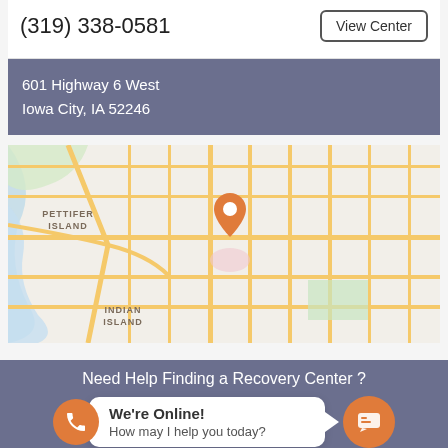(319) 338-0581
View Center
601 Highway 6 West
Iowa City, IA 52246
[Figure (map): Street map showing Iowa City area with an orange location pin marker. Visible labels include PETTIFER ISLAND and INDIAN ISLAND.]
Need Help Finding a Recovery Center ?
We're Online!
How may I help you today?